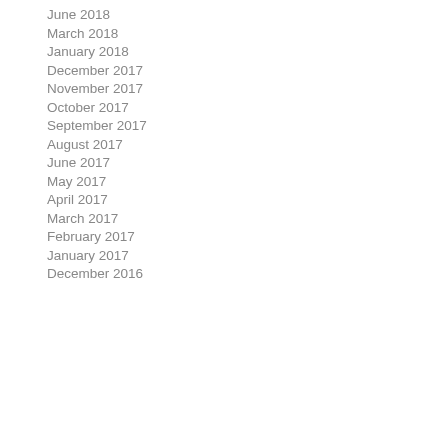June 2018
March 2018
January 2018
December 2017
November 2017
October 2017
September 2017
August 2017
June 2017
May 2017
April 2017
March 2017
February 2017
January 2017
December 2016